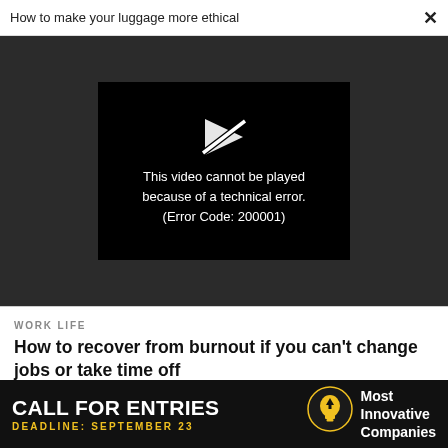How to make your luggage more ethical  ×
[Figure (screenshot): Black video player error box on dark gray background. Shows a white broken play icon and text: 'This video cannot be played because of a technical error. (Error Code: 200001)']
This video cannot be played because of a technical error. (Error Code: 200001)
WORK LIFE
How to recover from burnout if you can't change jobs or take time off
WORK LIFE
[Figure (infographic): Black advertisement bar: 'CALL FOR ENTRIES' with light bulb icon and 'Most Innovative Companies'. Deadline: September 23.]